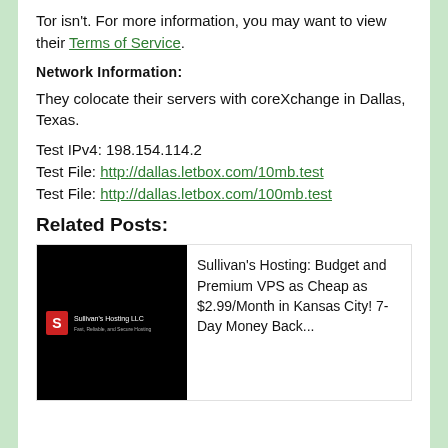Tor isn't. For more information, you may want to view their Terms of Service.
Network Information:
They colocate their servers with coreXchange in Dallas, Texas.
Test IPv4: 198.154.114.2
Test File: http://dallas.letbox.com/10mb.test
Test File: http://dallas.letbox.com/100mb.test
Related Posts:
[Figure (photo): Sullivan's Hosting LLC logo on black background]
Sullivan's Hosting: Budget and Premium VPS as Cheap as $2.99/Month in Kansas City! 7-Day Money Back...